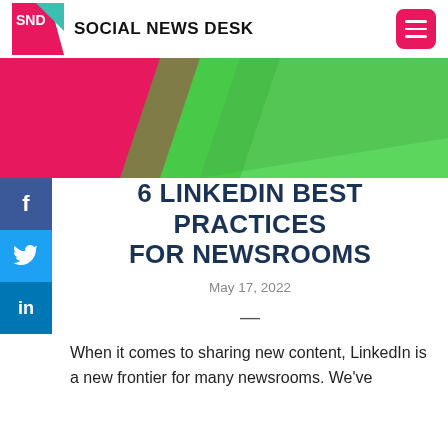SND  SOCIAL NEWS DESK
[Figure (illustration): Decorative banner with overlapping triangular/diagonal shapes in pink/magenta, dark navy blue, and bright green on a green background — Social News Desk brand banner.]
6 LINKEDIN BEST PRACTICES FOR NEWSROOMS
May 17, 2022
—
When it comes to sharing new content, LinkedIn is a new frontier for many newsrooms. We've